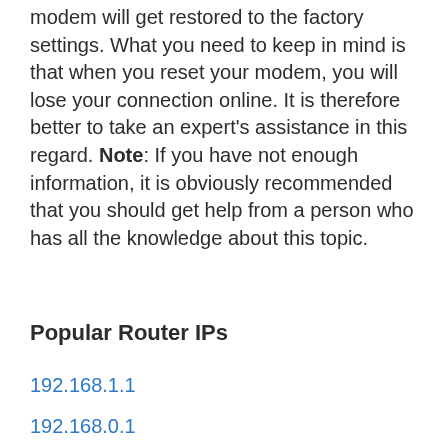modem will get restored to the factory settings. What you need to keep in mind is that when you reset your modem, you will lose your connection online. It is therefore better to take an expert's assistance in this regard. Note: If you have not enough information, it is obviously recommended that you should get help from a person who has all the knowledge about this topic.
Popular Router IPs
192.168.1.1
192.168.0.1